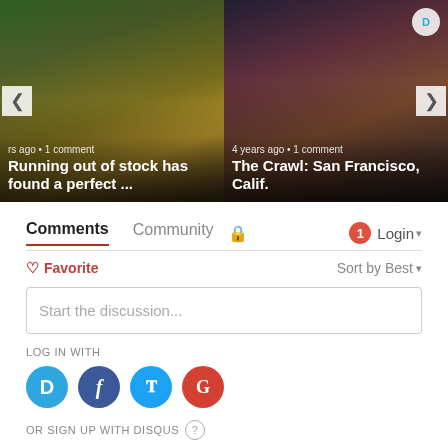[Figure (screenshot): Carousel left card: champagne/prosecco bottles among lemons, with navigation arrow. Text: 'rs ago • 1 comment' and title 'Running out of stock has found a perfect ...']
[Figure (screenshot): Carousel right card: group of people at a bar/event, with navigation arrow. Text: '4 years ago • 1 comment' and title 'The Crawl: San Francisco, Calif.']
Comments  Community  🔒  1  Login
♡ Favorite  Sort by Best
Start the discussion...
LOG IN WITH
OR SIGN UP WITH DISQUS ?